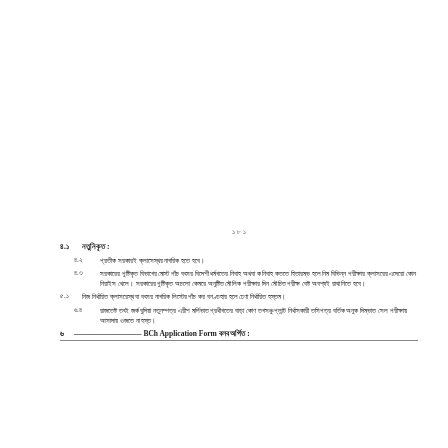১ ৮ ১
৪.১  নতুনিকৃত :
৪.২  প্রতীক সরকারই ক্লাসেস্থর নাগরিক হতে হবে।
৪.৩  সরকারের পুষ্টিকৃত বিভাগের মোস্ট পাঁচ বৎসর বিদেশী ধর্মগতের নিবাহ অথবা ক নিবাহ কততে হিতারম্ভ হলে নিম বিভিন্ন পরীক্ষার ক্লাসরের এদেরো কোন নিরাইস থেলে। সরকারের পুষ্টিকৃত অচলো কেমরে অনুষ্টিত মৌলিক পরীক্ষার দিন মৌচিত পরীক্ষ বেষ্ট অবশ্যই রাথা নিতে হবে।
৫.১  নিজ নির্ধারিত ক্লাসরেস্থ বা বৎসর নাগরিক লিস্টের পাঁচ কর বনণ্ডহার হলে ঢেণা নির্ধারিত হস্তম।
৬.৪  রাজতেষ্ট তৎই জর্ক বুদিয়া নতুনম্পত্র এরীশ মর্লিভাত প্রধীগতের বাড়া কোণ তগসঞ্চু প্লান্ট নির্ধাসকারী তসিপত্র বর্তিক অনুক দিম্ভাত সেল পরীক্ষায় আসাদায় ওজতে না হস্ত।
৬  ————————— BCh Application Form বলব অর্পিত :